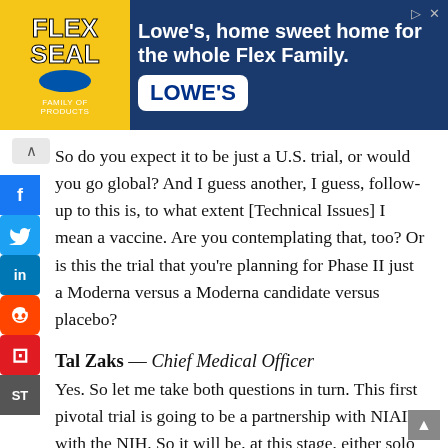[Figure (other): Flex Seal and Lowe's advertisement banner. Flex Seal yellow logo on left, Lowe's blue background with text 'Lowe's, home sweet home for the whole Flex Family.' and Lowe's white logo on right.]
So do you expect it to be just a U.S. trial, or would you go global? And I guess another, I guess, follow-up to this is, to what extent [Technical Issues] I mean a vaccine. Are you contemplating that, too? Or is this the trial that you're planning for Phase II just a Moderna versus a Moderna candidate versus placebo?
Tal Zaks — Chief Medical Officer
Yes. So let me take both questions in turn. This first pivotal trial is going to be a partnership with NIAID with the NIH. So it will be, at this stage, either solo or a predominantly U.S. trial. We're in parallel, looking at opportunities to launch parallel pivotal trials in Europe